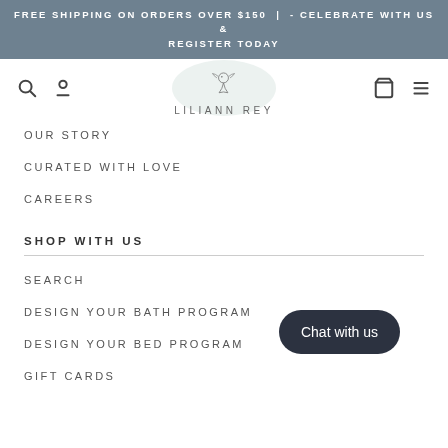FREE SHIPPING ON ORDERS OVER $150 | - CELEBRATE WITH US & REGISTER TODAY
[Figure (logo): Liliann Rey logo with bird illustration on a watercolor blob background and text LILIANN REY]
OUR STORY
CURATED WITH LOVE
CAREERS
SHOP WITH US
SEARCH
DESIGN YOUR BATH PROGRAM
DESIGN YOUR BED PROGRAM
GIFT CARDS